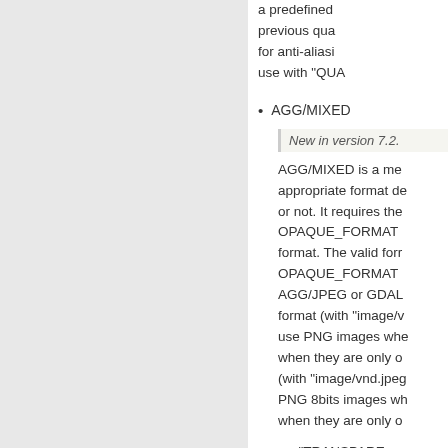a predefined previous qua for anti-aliasing use with "QUA
AGG/MIXED
New in version 7.2.
AGG/MIXED is a me appropriate format de or not. It requires the OPAQUE_FORMAT format. The valid form OPAQUE_FORMAT AGG/JPEG or GDAL format (with "image/v use PNG images whe when they are only o (with "image/vnd.jpeg PNG 8bits images wh when they are only o
"TRANSPAR be used when